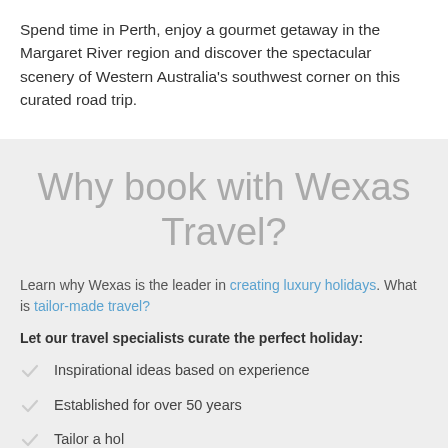Spend time in Perth, enjoy a gourmet getaway in the Margaret River region and discover the spectacular scenery of Western Australia's southwest corner on this curated road trip.
Why book with Wexas Travel?
Learn why Wexas is the leader in creating luxury holidays. What is tailor-made travel?
Let our travel specialists curate the perfect holiday:
Inspirational ideas based on experience
Established for over 50 years
Tailor a holiday...
...
ENQUIRE